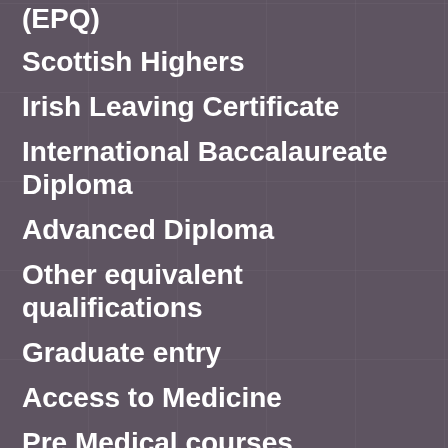(EPQ)
Scottish Highers
Irish Leaving Certificate
International Baccalaureate Diploma
Advanced Diploma
Other equivalent qualifications
Graduate entry
Access to Medicine
Pre Medical courses
International students